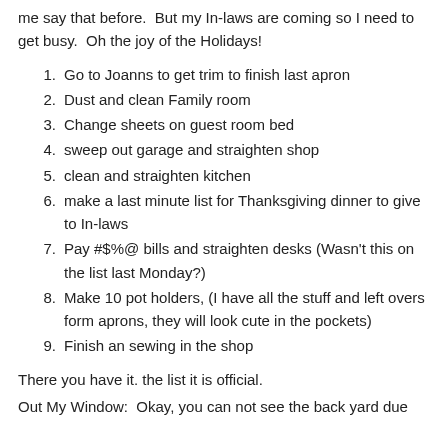me say that before.  But my In-laws are coming so I need to get busy.  Oh the joy of the Holidays!
1.  Go to Joanns to get trim to finish last apron
2. Dust and clean Family room
3. Change sheets on guest room bed
4. sweep out garage and straighten shop
5. clean and straighten kitchen
6. make a last minute list for Thanksgiving dinner to give to In-laws
7. Pay #$%@ bills and straighten desks (Wasn't this on the list last Monday?)
8. Make 10 pot holders, (I have all the stuff and left overs form aprons, they will look cute in the pockets)
9. Finish an sewing in the shop
There you have it. the list it is official.
Out My Window:  Okay, you can not see the back yard due